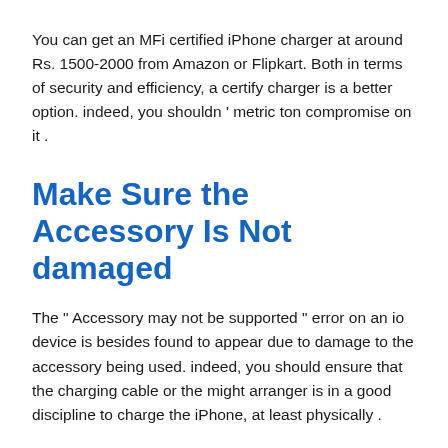You can get an MFi certified iPhone charger at around Rs. 1500-2000 from Amazon or Flipkart. Both in terms of security and efficiency, a certify charger is a better option. indeed, you shouldn ' metric ton compromise on it .
Make Sure the Accessory Is Not damaged
The " Accessory may not be supported " error on an io device is besides found to appear due to damage to the accessory being used. indeed, you should ensure that the charging cable or the might arranger is in a good discipline to charge the iPhone, at least physically .